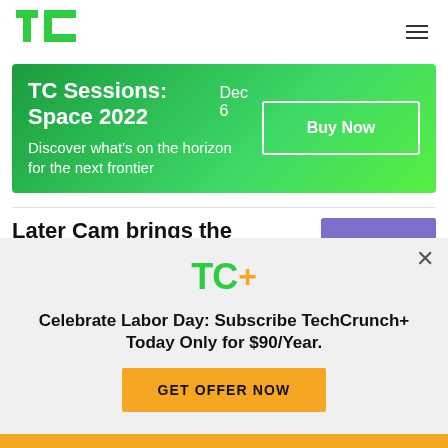TC (TechCrunch logo) | hamburger menu
[Figure (infographic): TC Sessions: Space 2022 banner ad with green gradient background, 'TC Sessions: Space 2022  Dec 6' headline, 'Discover what's on the horizon for the next frontier' subtext, and 'Buy Now' button]
Later Cam brings the nostalgia of analog...
[Figure (photo): Purple/blue thumbnail image with a colorful camera graphic]
[Figure (infographic): TC+ subscription modal overlay with TC+ logo, headline 'Celebrate Labor Day: Subscribe TechCrunch+ Today Only for $90/Year.' and 'GET OFFER NOW' yellow button]
Yellow bottom bar